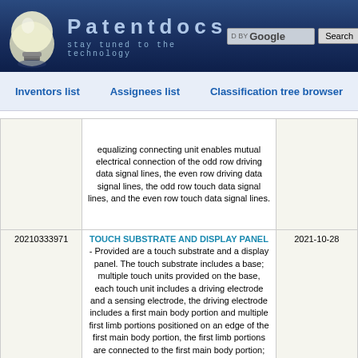[Figure (logo): Patentdocs website header with lightbulb logo, site title 'Patentdocs', subtitle 'stay tuned to the technology', Google search box and Search button]
Inventors list   Assignees list   Classification tree browser
|  | Description | Date |
| --- | --- | --- |
|  | equalizing connecting unit enables mutual electrical connection of the odd row driving data signal lines, the even row driving data signal lines, the odd row touch data signal lines, and the even row touch data signal lines. |  |
| 20210333971 | TOUCH SUBSTRATE AND DISPLAY PANEL - Provided are a touch substrate and a display panel. The touch substrate includes a base; multiple touch units provided on the base, each touch unit includes a driving electrode and a sensing electrode, the driving electrode includes a first main body portion and multiple first limb portions positioned on an edge of the first main body portion, the first limb portions are connected to the first main body portion; the sensing electrode includes a second main body portion and multiple second limb portions positioned on an | 2021-10-28 |